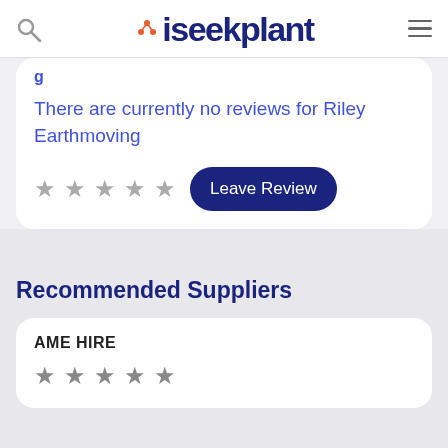iseekplant
There are currently no reviews for Riley Earthmoving
★ ★ ★ ★ ★   Leave Review
Recommended Suppliers
AME HIRE
★ ★ ★ ★ ★